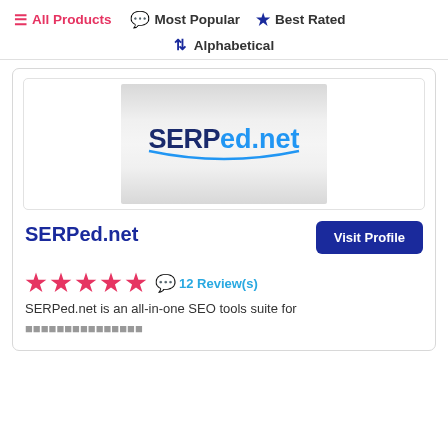≡ All Products  💬 Most Popular  ★ Best Rated
↕ Alphabetical
[Figure (logo): SERPed.net logo on a gray gradient background]
SERPed.net
Visit Profile
★★★★★ 💬 12 Review(s)
SERPed.net is an all-in-one SEO tools suite for